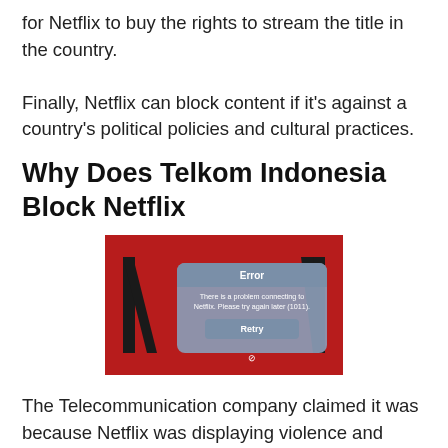for Netflix to buy the rights to stream the title in the country.
Finally, Netflix can block content if it's against a country's political policies and cultural practices.
Why Does Telkom Indonesia Block Netflix
[Figure (screenshot): Screenshot of a Netflix error screen on a red background showing a dialog box with the message 'Error – There is a problem connecting to Netflix. Please try again later (1011).' with a Retry button and loading spinner below.]
The Telecommunication company claimed it was because Netflix was displaying violence and explicit adult content in their service and also...